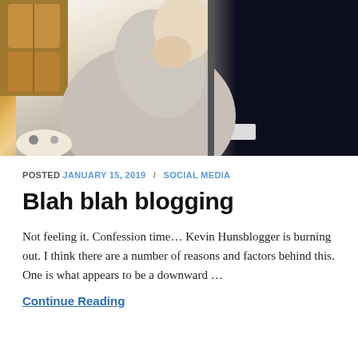[Figure (photo): A man sitting at a laptop computer, viewed from the side, holding his hand to his face in a contemplative or stressed pose. Wooden cabinet visible in the background on the left. The right side of the image is dominated by the dark back of the laptop screen.]
POSTED JANUARY 15, 2019 / SOCIAL MEDIA
Blah blah blogging
Not feeling it. Confession time… Kevin Hunsblogger is burning out. I think there are a number of reasons and factors behind this. One is what appears to be a downward …
Continue Reading